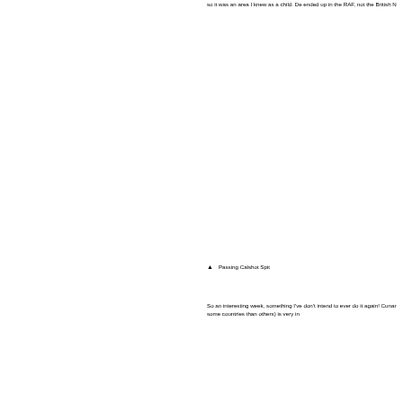so it was an area I knew as a child. De ended up in the RAF, not the British N
▲  Passing Calshot Spit
So an interesting week, something I've don't intend to ever do it again!  Cunar some countries than others) is very in